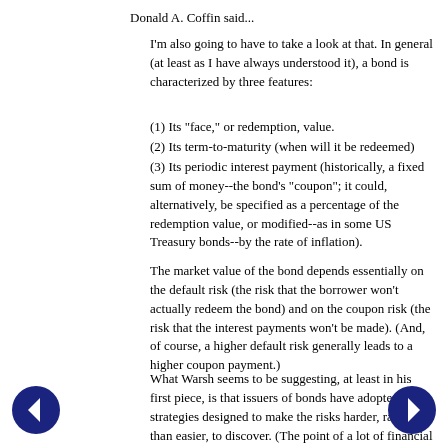Donald A. Coffin said...
I'm also going to have to take a look at that. In general (at least as I have always understood it), a bond is characterized by three features:
(1) Its "face," or redemption, value.
(2) Its term-to-maturity (when will it be redeemed)
(3) Its periodic interest payment (historically, a fixed sum of money--the bond's "coupon"; it could, alternatively, be specified as a percentage of the redemption value, or modified--as in some US Treasury bonds--by the rate of inflation).
The market value of the bond depends essentially on the default risk (the risk that the borrower won't actually redeem the bond) and on the coupon risk (the risk that the interest payments won't be made). (And, of course, a higher default risk generally leads to a higher coupon payment.)
What Warsh seems to be suggesting, at least in his first piece, is that issuers of bonds have adopted strategies designed to make the risks harder, rather than easier, to discover. (The point of a lot of financial regulation beginning in the 1930s was to make the risks easier to discover.)
Am I missing something here? Is he--and, by extension Gorton and Homlstrom--taking about, not bonds, but derivatives?